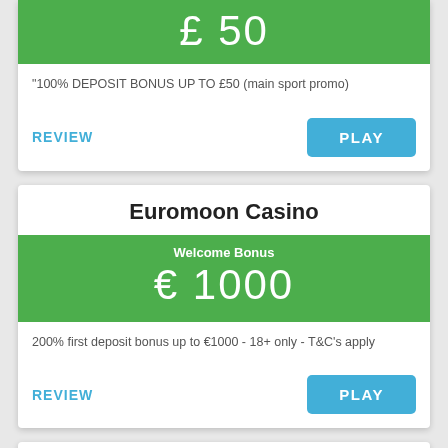[Figure (other): Partial top card showing green banner with £50 bonus amount]
"100% DEPOSIT BONUS UP TO £50 (main sport promo)
REVIEW
PLAY
Euromoon Casino
Welcome Bonus
€ 1000
200% first deposit bonus up to €1000 - 18+ only - T&C's apply
REVIEW
PLAY
Atlantic Casino